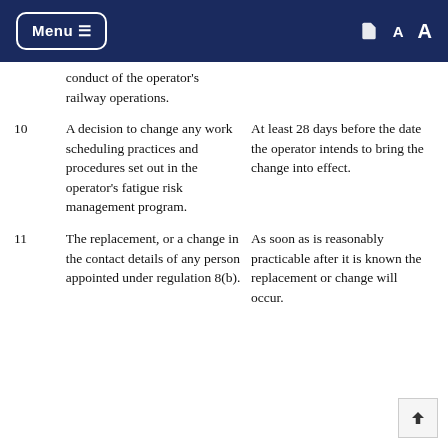Menu
conduct of the operator's railway operations.
10  A decision to change any work scheduling practices and procedures set out in the operator's fatigue risk management program.  |  At least 28 days before the date the operator intends to bring the change into effect.
11  The replacement, or a change in the contact details of any person appointed under regulation 8(b).  |  As soon as is reasonably practicable after it is known the replacement or change will occur.